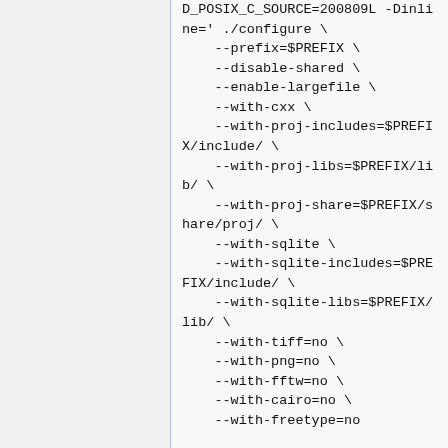D_POSIX_C_SOURCE=200809L -Dinline=' ./configure \
    --prefix=$PREFIX \
    --disable-shared \
    --enable-largefile \
    --with-cxx \
    --with-proj-includes=$PREFIX/include/ \
    --with-proj-libs=$PREFIX/lib/ \
    --with-proj-share=$PREFIX/share/proj/ \
    --with-sqlite \
    --with-sqlite-includes=$PREFIX/include/ \
    --with-sqlite-libs=$PREFIX/lib/ \
    --with-tiff=no \
    --with-png=no \
    --with-fftw=no \
    --with-cairo=no \
    --with-freetype=no